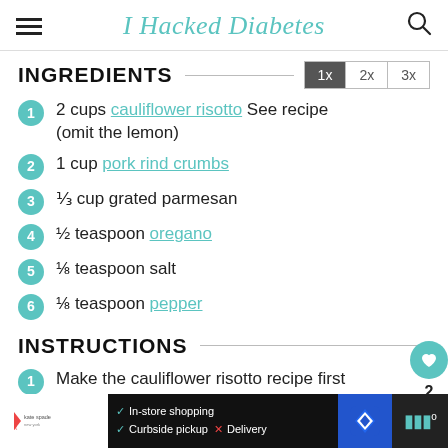I Hacked Diabetes
INGREDIENTS
2 cups cauliflower risotto See recipe (omit the lemon)
1 cup pork rind crumbs
⅔ cup grated parmesan
½ teaspoon oregano
⅛ teaspoon salt
⅛ teaspoon pepper
INSTRUCTIONS
Make the cauliflower risotto recipe first